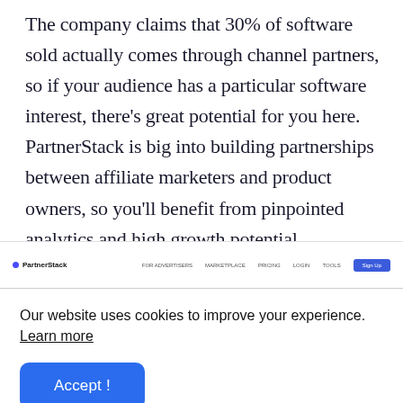The company claims that 30% of software sold actually comes through channel partners, so if your audience has a particular software interest, there's great potential for you here. PartnerStack is big into building partnerships between affiliate marketers and product owners, so you'll benefit from pinpointed analytics and high growth potential.
[Figure (screenshot): PartnerStack website navigation bar screenshot showing logo on left and nav links (FOR ADVERTISERS, MARKETPLACE, PRICING, LOGIN, TOOLS) with a blue Sign Up button on the right]
Our website uses cookies to improve your experience. Learn more
Accept !